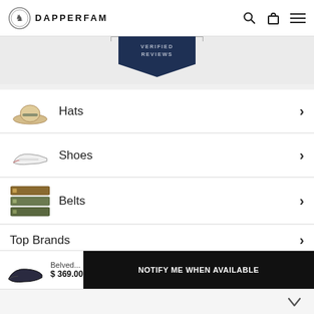[Figure (logo): DapperFam logo with shield emblem and brand name]
[Figure (screenshot): Verified Reviews badge/tab in dark navy blue with text VERIFIED REVIEWS]
Hats
Shoes
Belts
Top Brands
Reviews
Belved... $ 369.00
NOTIFY ME WHEN AVAILABLE